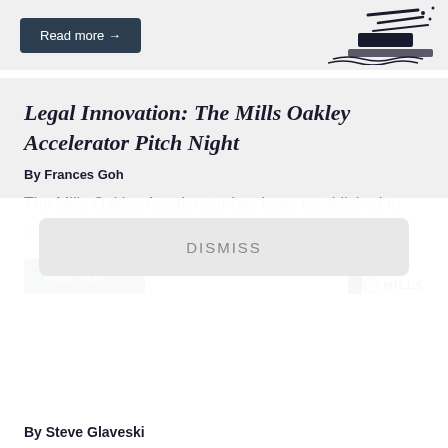[Figure (other): Read more button and illustration at top of page]
Legal Innovation: The Mills Oakley Accelerator Pitch Night
By Frances Goh
The Mills Oakley Accelerator has been established to commercialise legaltech.
[Figure (other): Read more button and Mills Oakley logo]
DISMISS
By Steve Glaveski